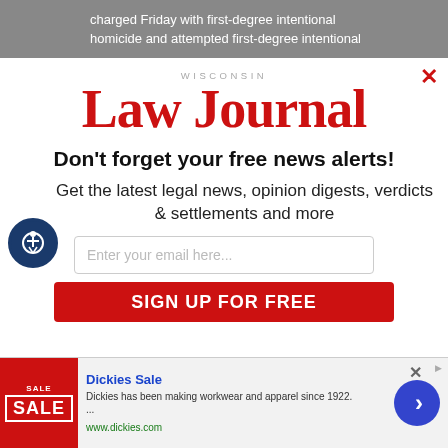charged Friday with first-degree intentional homicide and attempted first-degree intentional
[Figure (logo): Wisconsin Law Journal logo with red bold serif text]
Don't forget your free news alerts!
Get the latest legal news, opinion digests, verdicts & settlements and more
Enter your email here...
SIGN UP FOR FREE
Dickies Sale — Dickies has been making workwear and apparel since 1922. ... www.dickies.com